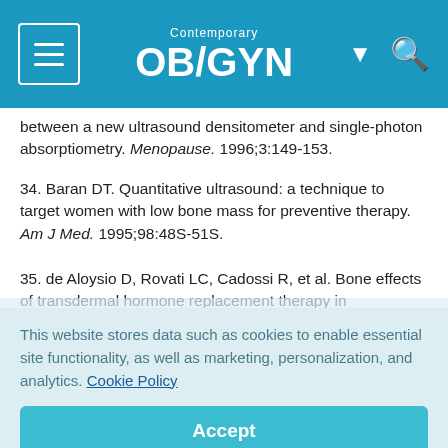Contemporary OB/GYN
between a new ultrasound densitometer and single-photon absorptiometry. Menopause. 1996;3:149-153.
34. Baran DT. Quantitative ultrasound: a technique to target women with low bone mass for preventive therapy. Am J Med. 1995;98:48S-51S.
35. de Aloysio D, Rovati LC, Cadossi R, et al. Bone effects of transdermal hormone replacement therapy in
This website stores data such as cookies to enable essential site functionality, as well as marketing, personalization, and analytics. Cookie Policy
Accept
Deny